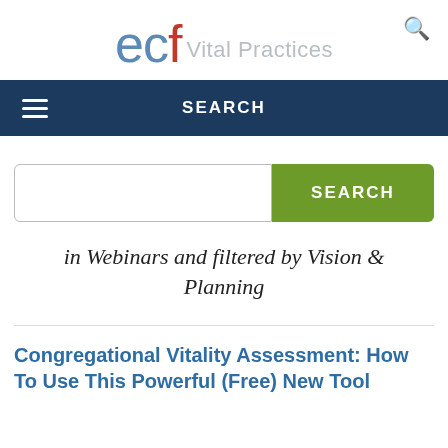ecf Vital Practices
SEARCH
in Webinars and filtered by Vision & Planning
Congregational Vitality Assessment: How To Use This Powerful (Free) New Tool